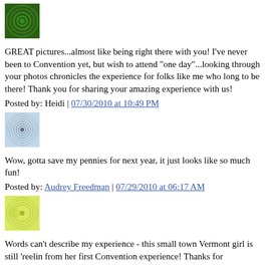[Figure (illustration): Green spiral/mandala avatar icon]
GREAT pictures...almost like being right there with you! I've never been to Convention yet, but wish to attend "one day"...looking through your photos chronicles the experience for folks like me who long to be there! Thank you for sharing your amazing experience with us!
Posted by: Heidi | 07/30/2010 at 10:49 PM
[Figure (illustration): Blue/white spiral/mandala avatar icon]
Wow, gotta save my pennies for next year, it just looks like so much fun!
Posted by: Audrey Freedman | 07/29/2010 at 06:17 AM
[Figure (illustration): Yellow-green/lime circular design avatar icon]
Words can't describe my experience - this small town Vermont girl is still 'reelin from her first Convention experience! Thanks for